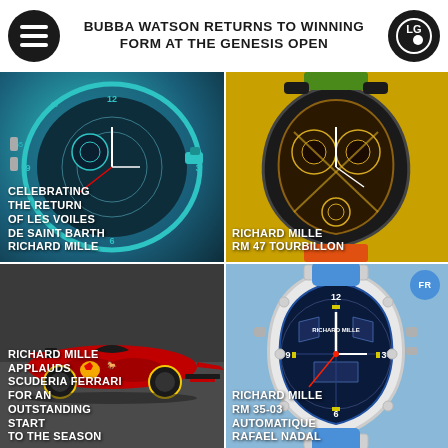BUBBA WATSON RETURNS TO WINNING FORM AT THE GENESIS OPEN
[Figure (photo): Watch with teal/turquoise bezel, skeleton dial, Richard Mille style]
CELEBRATING THE RETURN OF LES VOILES DE SAINT BARTH RICHARD MILLE
[Figure (photo): Richard Mille RM 47 Tourbillon watch with skeletal movement on yellow/gold background with floral strap]
RICHARD MILLE RM 47 TOURBILLON
[Figure (photo): Red Ferrari Formula 1 car on track with Shell logo]
RICHARD MILLE APPLAUDS SCUDERIA FERRARI FOR AN OUTSTANDING START TO THE SEASON
[Figure (photo): Richard Mille RM 35-03 Automatique Rafael Nadal watch in white/light blue]
RICHARD MILLE RM 35-03 AUTOMATIQUE RAFAEL NADAL
[Figure (photo): Partial view of blue/light colored image with FR badge]
[Figure (photo): Partial view of image with scroll-up badge]